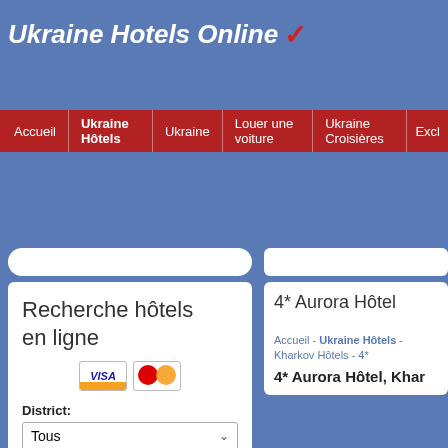Ukraine Hotels Online ✓
Accueil | Ukraine Hôtels | Ukraine | Louer une voiture | Ukraine Croisières | Excl...
Recherche hôtels en ligne
District:
Tous
Arrivée: 31.08.2022
4* Aurora Hôtel
Accueil - Ukraine Hôtels - Kharkov Hôtels - 4*
4* Aurora Hôtel, Khar